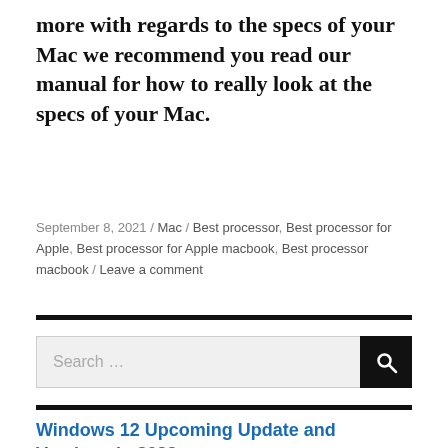more with regards to the specs of your Mac we recommend you read our manual for how to really look at the specs of your Mac.
September 8, 2021 / Mac / Best processor, Best processor for Apple, Best processor for Apple macbook, Best processor macbook / Leave a comment
Search …
Windows 12 Upcoming Update and Versions in 2022